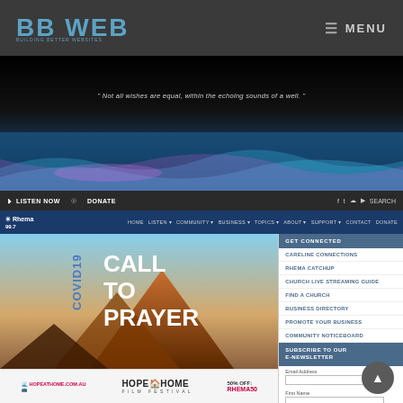BB WEB | MENU
[Figure (screenshot): Hero banner with dark background, italic quote text, and glowing wave graphic at bottom]
LISTEN NOW  DONATE  [social icons]  SEARCH
Rhema 99.7 navigation bar: HOME, LISTEN, COMMUNITY, BUSINESS, TOPICS, ABOUT, SUPPORT, CONTACT, DONATE
[Figure (screenshot): COVID19 Call To Prayer promotional image with mountain background]
[Figure (screenshot): Hope@Home Film Festival banner with hopeathome.com.au URL, 50% OFF: RHEMA50]
GET CONNECTED
CARELINE CONNECTIONS
RHEMA CATCHUP
CHURCH LIVE STREAMING GUIDE
FIND A CHURCH
BUSINESS DIRECTORY
PROMOTE YOUR BUSINESS
COMMUNITY NOTICEBOARD
SUBSCRIBE TO OUR E-NEWSLETTER
Email Address
First Name